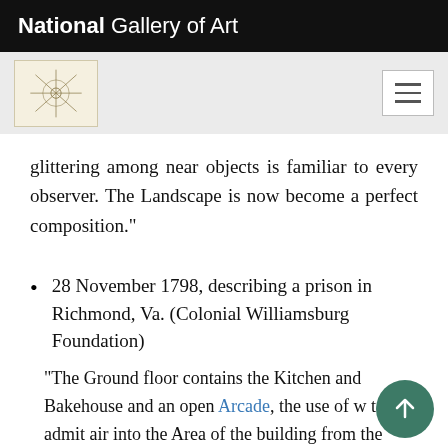National Gallery of Art
glittering among near objects is familiar to every observer. The Landscape is now become a perfect composition."
28 November 1798, describing a prison in Richmond, Va. (Colonial Williamsburg Foundation)
"The Ground floor contains the Kitchen and Bakehouse and an open Arcade, the use of w to admit air into the Area of the building from the